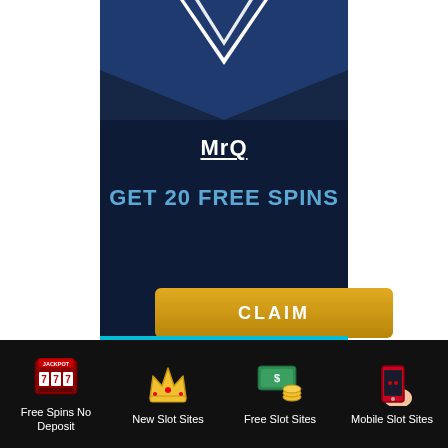[Figure (logo): MrQ casino logo with white text and underline on dark navy background with chevron/arrow graphic at top]
GET 20 FREE SPINS
CLAIM
[Figure (infographic): Bottom navigation bar with four icons: slot machine (Free Spins No Deposit), crown (New Slot Sites), money stack (Free Slot Sites), mobile phone (Mobile Slot Sites)]
Free Spins No Deposit
New Slot Sites
Free Slot Sites
Mobile Slot Sites